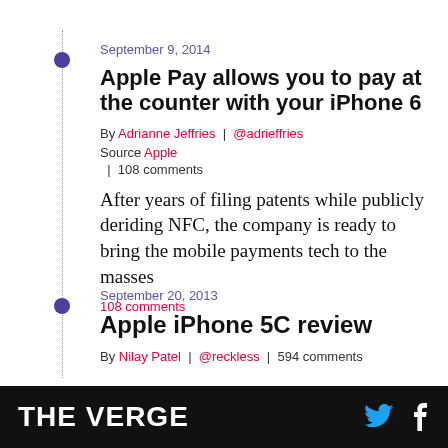September 9, 2014
Apple Pay allows you to pay at the counter with your iPhone 6
By Adrianne Jeffries | @adrieffries
Source Apple | 108 comments
After years of filing patents while publicly deriding NFC, the company is ready to bring the mobile payments tech to the masses
108 comments
September 20, 2013
Apple iPhone 5C review
By Nilay Patel | @reckless | 594 comments
THE VERGE